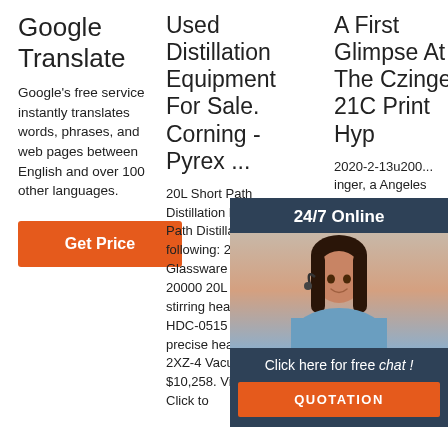Google Translate
Google's free service instantly translates words, phrases, and web pages between English and over 100 other languages.
Get Price
Used Distillation Equipment For Sale. Corning - Pyrex ...
20L Short Path Distillation Kit. 20L Short Path Distillation Kit with following: 20LSP Glassware ZNCL-TS-20000 20L magnetic stirring heating mantle HDC-0515 Desktop precise heater/chiller 2XZ-4 Vacuum pump. $10,258. Vista, CA, USA. Click to
A First Glimpse At The Czinger 21C Print Hyp
2020-2-13u200... inger, a Angeles compan last ye Diverg founder Kevin Czinger, has revealed the first details about its first hypercar, the Czinger 21C.
[Figure (infographic): Chat widget overlay with '24/7 Online' header, photo of woman with headset, 'Click here for free chat!' text, and 'QUOTATION' orange button]
[Figure (logo): TOP logo in orange with dot pattern above letters]